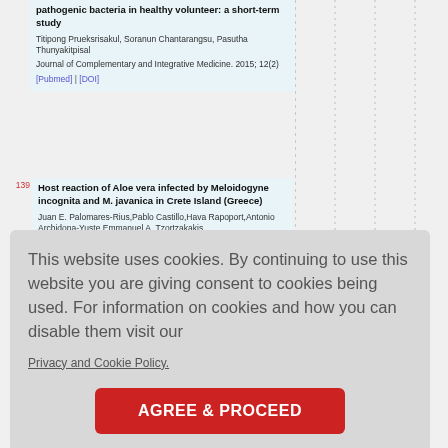pathogenic bacteria in healthy volunteer: a short-term study
Titipong Prueksrisakul, Soranun Chantarangsu, Pasutha Thunyakitpisal
Journal of Complementary and Integrative Medicine. 2015; 12(2)
[Pubmed] | [DOI]
139
Host reaction of Aloe vera infected by Meloidogyne incognita and M. javanica in Crete Island (Greece)
Juan E. Palomares-Rius,Pablo Castillo,Hava Rapoport,Antonio Archidona-Yuste,Emmanuel A. Tzortzakakis
European Journal of Plant Pathology.
This website uses cookies. By continuing to use this website you are giving consent to cookies being used. For information on cookies and how you can disable them visit our
Privacy and Cookie Policy.
AGREE & PROCEED
Tripura district, Tripura, North East India